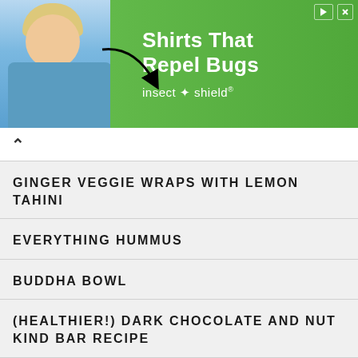[Figure (screenshot): Advertisement banner for Insect Shield: Shirts That Repel Bugs, with a woman in a blue shirt and a green background]
GINGER VEGGIE WRAPS WITH LEMON TAHINI
EVERYTHING HUMMUS
BUDDHA BOWL
(HEALTHIER!) DARK CHOCOLATE AND NUT KIND BAR RECIPE
CRUNCHY BAKED ZUCCHINI FRIES